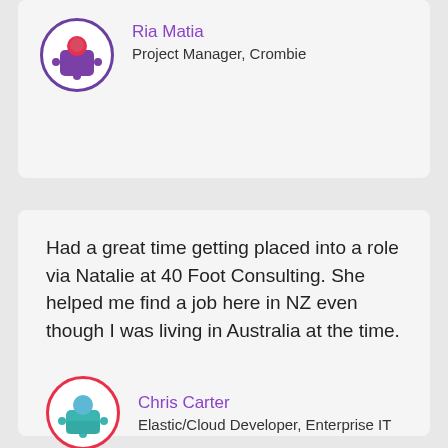[Figure (illustration): Avatar icon of Ria Matia with purple puzzle-piece person icon inside a purple circle]
Ria Matia
Project Manager, Crombie
Had a great time getting placed into a role via Natalie at 40 Foot Consulting. She helped me find a job here in NZ even though I was living in Australia at the time.
[Figure (illustration): Avatar icon of Chris Carter with teal puzzle-piece person icon inside a red circle]
Chris Carter
Elastic/Cloud Developer, Enterprise IT